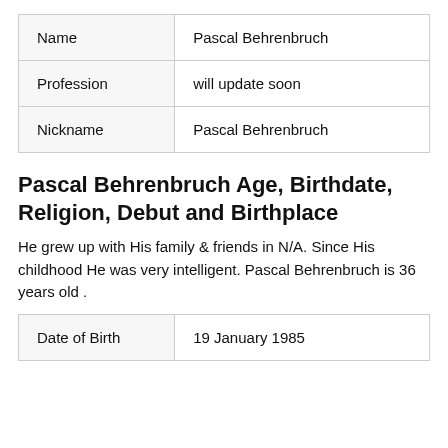|  |  |
| --- | --- |
| Name | Pascal Behrenbruch |
| Profession | will update soon |
| Nickname | Pascal Behrenbruch |
Pascal Behrenbruch Age, Birthdate, Religion, Debut and Birthplace
He grew up with His family & friends in N/A. Since His childhood He was very intelligent. Pascal Behrenbruch is 36 years old .
|  |  |
| --- | --- |
| Date of Birth | 19 January 1985 |